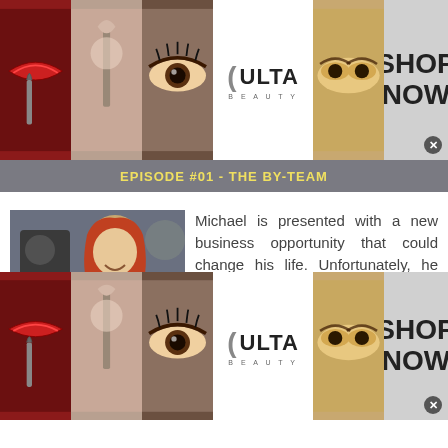[Figure (infographic): Top Ulta Beauty advertisement banner showing makeup images: lips with brush, eye shadow application, Ulta Beauty logo, smoky eye, and SHOP NOW button with close X]
EPISODE #01 - THE BY-TEAM
[Figure (photo): Episode thumbnail: red-haired woman smiling in a scene]
Michael is presented with a new business opportunity that could change his life. Unfortunately, he needs his family to sign off.
Michael meets with movie producer Ron Howard to discuss a new project; during the conversation Michael misinterprets Ron when he is talking about his ‘girl’, Rebel Alley, presuming she is his girlfriend (she is his daughter). After the meeting, Michael literally bumps into a red-headed aspiring actress, and – to impress her – Michael tells her he is a movie producer and h
[Figure (infographic): Bottom Ulta Beauty advertisement banner showing makeup images: lips with brush, eye shadow application, Ulta Beauty logo, smoky eye, and SHOP NOW button with close X]